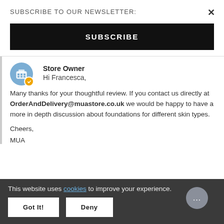SUBSCRIBE TO OUR NEWSLETTER:
SUBSCRIBE
Store Owner
Hi Francesca,
Many thanks for your thoughtful review. If you contact us directly at OrderAndDelivery@muastore.co.uk we would be happy to have a more in depth discussion about foundations for different skin types.
Cheers,
MUA
This website uses cookies to improve your experience.
Got It!
Deny